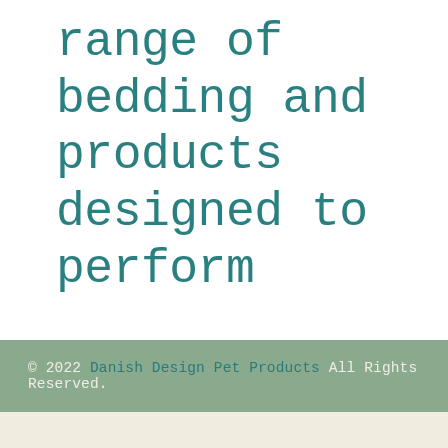range of bedding and products designed to perform
© 2022 Danish Design Pet Products All Rights Reserved.